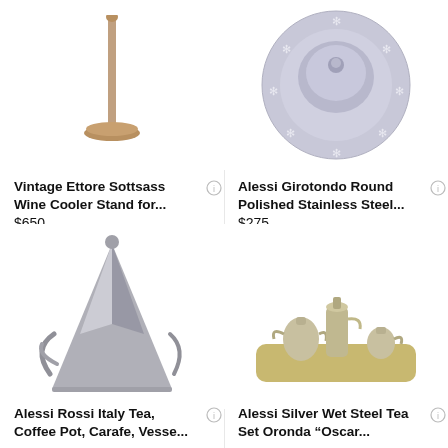[Figure (photo): Silver wine cooler stand with round base, metallic stem]
Vintage Ettore Sottsass Wine Cooler Stand for...
$650
[Figure (photo): Alessi Girotondo round polished stainless steel tray with snowflake/flower decorative cutouts around the rim]
Alessi Girotondo Round Polished Stainless Steel...
$275
Free Shipping
[Figure (photo): Alessi Rossi Italy stainless steel conical tea/coffee pot with polished surface]
Alessi Rossi Italy Tea, Coffee Pot, Carafe, Vesse...
[Figure (photo): Alessi Silver Wet Steel tea set with tray, teapot, creamer, and sugar bowl]
Alessi Silver Wet Steel Tea Set Oronda "Oscar...